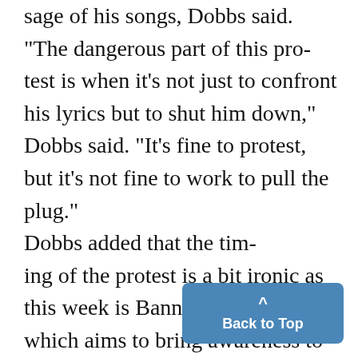sage of his songs, Dobbs said. "The dangerous part of this protest is when it's not just to confront his lyrics but to shut him down," Dobbs said. "It's fine to protest, but it's not fine to work to pull the plug." Dobbs added that the timing of the protest is a bit ironic as this week is Banned Books Week, which aims to bring awareness to the dangers of censorship. Dobbs likened the push to prevent Banton from performing a